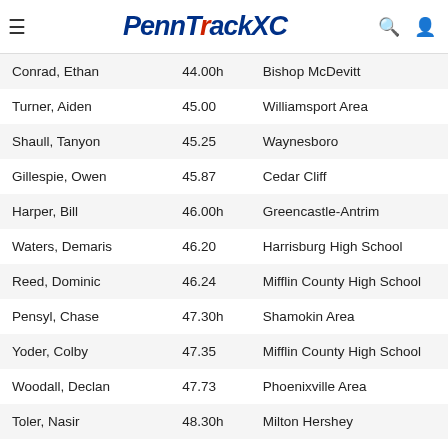PennTrackXC
| Name | Mark | School |
| --- | --- | --- |
| Conrad, Ethan | 44.00h | Bishop McDevitt |
| Turner, Aiden | 45.00 | Williamsport Area |
| Shaull, Tanyon | 45.25 | Waynesboro |
| Gillespie, Owen | 45.87 | Cedar Cliff |
| Harper, Bill | 46.00h | Greencastle-Antrim |
| Waters, Demaris | 46.20 | Harrisburg High School |
| Reed, Dominic | 46.24 | Mifflin County High School |
| Pensyl, Chase | 47.30h | Shamokin Area |
| Yoder, Colby | 47.35 | Mifflin County High School |
| Woodall, Declan | 47.73 | Phoenixville Area |
| Toler, Nasir | 48.30h | Milton Hershey |
| Combary, Steve | 48.51 | Central Dauphin East (CD East) |